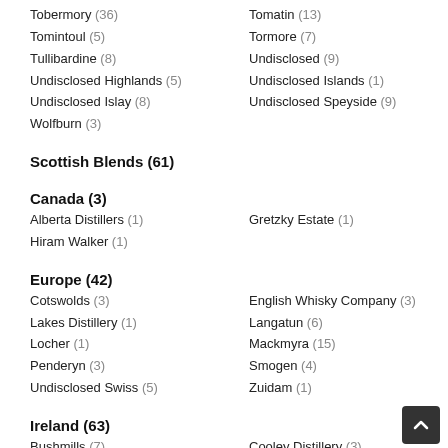Tobermory (36)
Tomatin (13)
Tomintoul (5)
Tormore (7)
Tullibardine (8)
Undisclosed (9)
Undisclosed Highlands (5)
Undisclosed Islands (1)
Undisclosed Islay (8)
Undisclosed Speyside (9)
Wolfburn (3)
Scottish Blends (61)
Canada (3)
Alberta Distillers (1)
Gretzky Estate (1)
Hiram Walker (1)
Europe (42)
Cotswolds (3)
English Whisky Company (3)
Lakes Distillery (1)
Langatun (6)
Locher (1)
Mackmyra (15)
Penderyn (3)
Smogen (4)
Undisclosed Swiss (5)
Zuidam (1)
Ireland (63)
Bushmills (7)
Cooley Distillery (3)